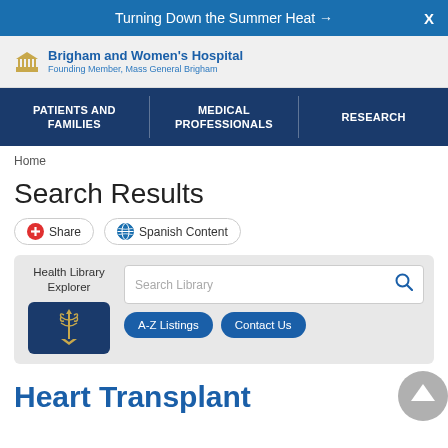Turning Down the Summer Heat →
[Figure (logo): Brigham and Women's Hospital logo with building icon, text: Brigham and Women's Hospital, Founding Member, Mass General Brigham]
PATIENTS AND FAMILIES | MEDICAL PROFESSIONALS | RESEARCH
Home
Search Results
Share   Spanish Content
Health Library Explorer — Search Library — A-Z Listings — Contact Us
Heart Transplant